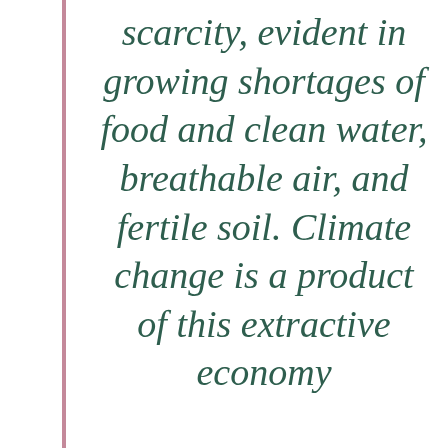scarcity, evident in growing shortages of food and clean water, breathable air, and fertile soil. Climate change is a product of this extractive economy